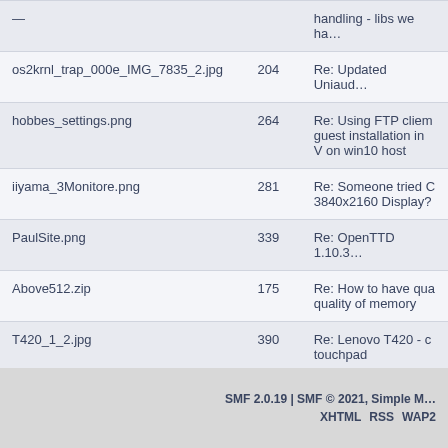| (filename) | (number) | (description) |
| --- | --- | --- |
| — |  | handling - libs we ha… |
| os2krnl_trap_000e_IMG_7835_2.jpg | 204 | Re: Updated Uniaud… |
| hobbes_settings.png | 264 | Re: Using FTP cliem guest installation in … on win10 host |
| iiyama_3Monitore.png | 281 | Re: Someone tried C 3840x2160 Display?… |
| PaulSite.png | 339 | Re: OpenTTD 1.10.3… |
| Above512.zip | 175 | Re: How to have qua quality of memory |
| T420_1_2.jpg | 390 | Re: Lenovo T420 - c touchpad |
| T420_2_2.jpg | 376 | Re: Lenovo T420 - c touchpad |
Pages: [1] 2 3
SMF 2.0.19 | SMF © 2021, Simple M…  XHTML  RSS  WAP2